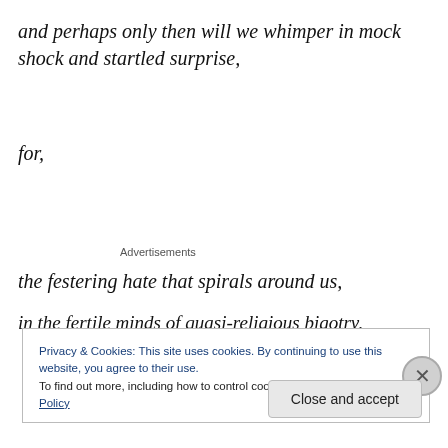and perhaps only then will we whimper in mock shock and startled surprise,
for,
Advertisements
the festering hate that spirals around us,
in the fertile minds of quasi-religious bigotry,
Privacy & Cookies: This site uses cookies. By continuing to use this website, you agree to their use.
To find out more, including how to control cookies, see here: Cookie Policy
Close and accept